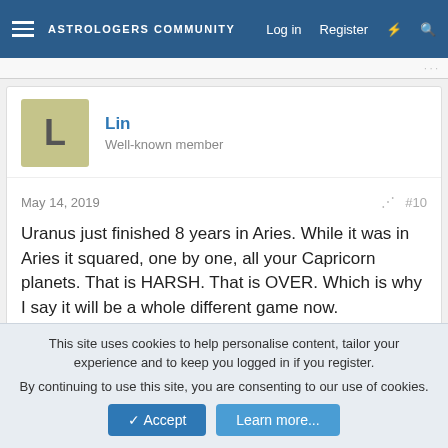ASTROLOGERS COMMUNITY  Log in  Register
Lin
Well-known member
May 14, 2019  #10
Uranus just finished 8 years in Aries. While it was in Aries it squared, one by one, all your Capricorn planets. That is HARSH. That is OVER. Which is why I say it will be a whole different game now.
LIN
↩ Reply
This site uses cookies to help personalise content, tailor your experience and to keep you logged in if you register.
By continuing to use this site, you are consenting to our use of cookies.
✓ Accept   Learn more...